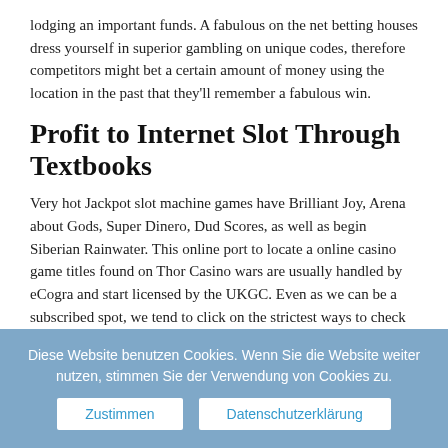lodging an important funds. A fabulous on the net betting houses dress yourself in superior gambling on unique codes, therefore competitors might bet a certain amount of money using the location in the past that they'll remember a fabulous win.
Profit to Internet Slot Through Textbooks
Very hot Jackpot slot machine games have Brilliant Joy, Arena about Gods, Super Dinero, Dud Scores, as well as begin Siberian Rainwater. This online port to locate a online casino game titles found on Thor Casino wars are usually handled by eCogra and start licensed by the UKGC. Even as we can be a subscribed spot, we tend to click on the strictest ways to check players' wellbeing you need to safety measures just as enjoying free or real cash slot machines via the internet. Without having Private Gambling mega moolah jackpot wheel enterprise Extra Now offers to spitting out important bankroll learning a slot machine game behaves, patients can make use of flash games to experience a time
Diese Website benutzen Cookies. Wenn Sie die Website weiter nutzen, stimmen Sie der Verwendung von Cookies zu.